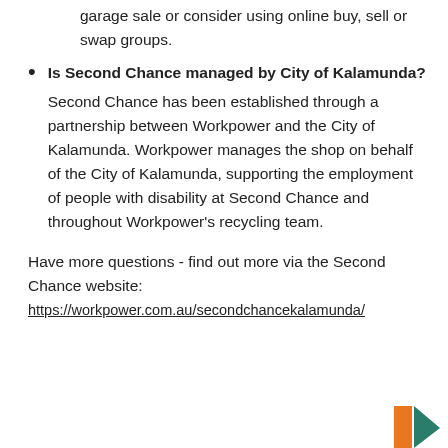garage sale or consider using online buy, sell or swap groups.
Is Second Chance managed by City of Kalamunda? Second Chance has been established through a partnership between Workpower and the City of Kalamunda. Workpower manages the shop on behalf of the City of Kalamunda, supporting the employment of people with disability at Second Chance and throughout Workpower's recycling team.
Have more questions - find out more via the Second Chance website:
https://workpower.com.au/secondchancekalamunda/